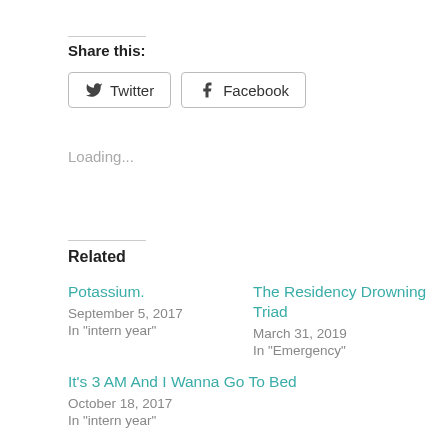Share this:
Twitter  Facebook
Loading...
Related
Potassium.
September 5, 2017
In "intern year"
The Residency Drowning Triad
March 31, 2019
In "Emergency"
It's 3 AM And I Wanna Go To Bed
October 18, 2017
In "intern year"